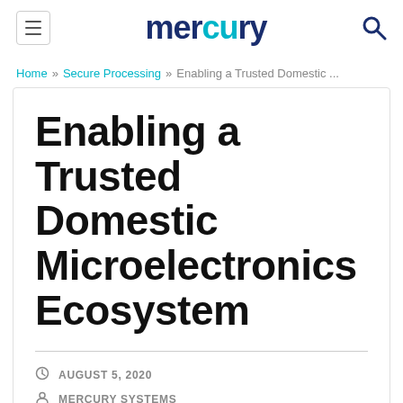mercury
Home » Secure Processing » Enabling a Trusted Domestic ...
Enabling a Trusted Domestic Microelectronics Ecosystem
AUGUST 5, 2020
MERCURY SYSTEMS